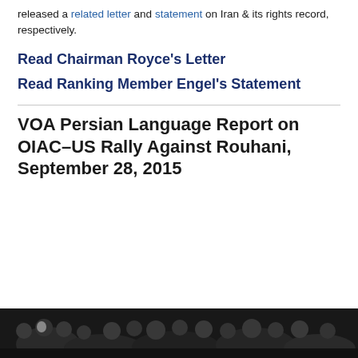released a related letter and statement on Iran & its rights record, respectively.
Read Chairman Royce's Letter
Read Ranking Member Engel's Statement
VOA Persian Language Report on OIAC–US Rally Against Rouhani, September 28, 2015
[Figure (photo): Dark photo of a crowd at a rally, partially visible at the bottom of the page]